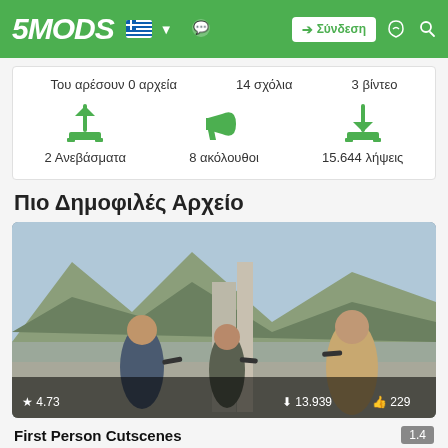5MODS | Σύνδεση
Του αρέσουν 0 αρχεία   14 σχόλια   3 βίντεο
2 Ανεβάσματα   8 ακόλουθοι   15.644 λήψεις
Πιο Δημοφιλές Αρχείο
[Figure (screenshot): GTA V game screenshot showing three male characters pointing guns at each other on a rooftop with mountain landscape in background. Overlay shows rating 4.73, 13,939 downloads, 229 likes.]
First Person Cutscenes   1.4